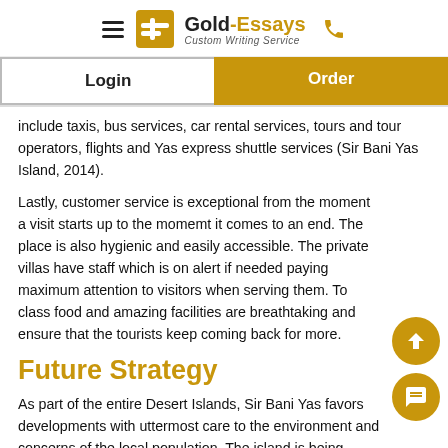Gold-Essays Custom Writing Service
include taxis, bus services, car rental services, tours and tour operators, flights and Yas express shuttle services (Sir Bani Yas Island, 2014).
Lastly, customer service is exceptional from the moment a visit starts up to the momemt it comes to an end. The place is also hygienic and easily accessible. The private villas have staff which is on alert if needed paying maximum attention to visitors when serving them. To class food and amazing facilities are breathtaking and ensure that the tourists keep coming back for more.
Future Strategy
As part of the entire Desert Islands, Sir Bani Yas favors developments with uttermost care to the environment and concerns of the local population. The island is being